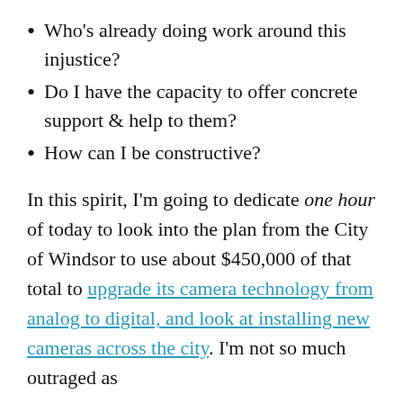Who's already doing work around this injustice?
Do I have the capacity to offer concrete support & help to them?
How can I be constructive?
In this spirit, I'm going to dedicate one hour of today to look into the plan from the City of Windsor to use about $450,000 of that total to upgrade its camera technology from analog to digital, and look at installing new cameras across the city. I'm not so much outraged as